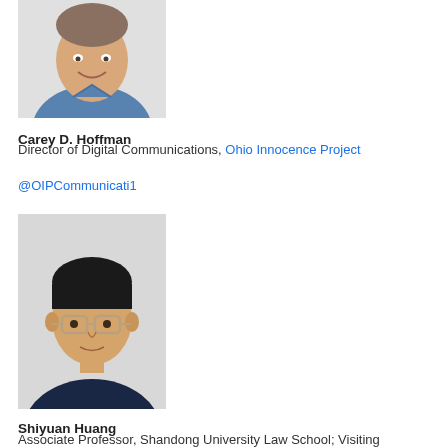[Figure (photo): Headshot photo of Carey D. Hoffman, a smiling man in a blue shirt]
Carey D. Hoffman
Director of Digital Communications, Ohio Innocence Project
@OIPCommunicati1
[Figure (photo): Headshot photo of Shiyuan Huang, a man wearing glasses and a dark shirt]
Shiyuan Huang
Associate Professor, Shandong University Law School; Visiting Scholar, University of Cincinnati College of Law